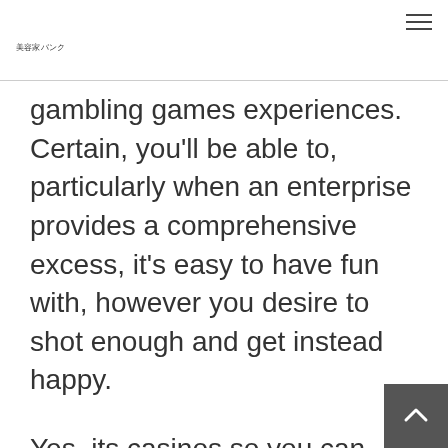美容家バンク
gambling games experiences. Certain, you'll be able to, particularly when an enterprise provides a comprehensive excess, it's easy to have fun with, however you desire to shot enough and get instead happy.
Yes, its casinos so you can bookmaker enjoy 888 Playing and FanDuel purchase them, so far which is going to doesn't imply you are able to these people. You able to say a person complimentary